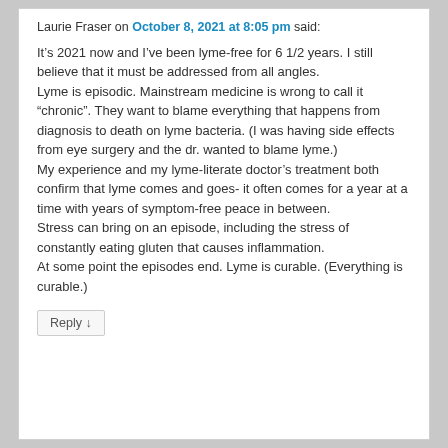Laurie Fraser on October 8, 2021 at 8:05 pm said:
It's 2021 now and I've been lyme-free for 6 1/2 years. I still believe that it must be addressed from all angles.
Lyme is episodic. Mainstream medicine is wrong to call it “chronic”. They want to blame everything that happens from diagnosis to death on lyme bacteria. (I was having side effects from eye surgery and the dr. wanted to blame lyme.)
My experience and my lyme-literate doctor’s treatment both confirm that lyme comes and goes- it often comes for a year at a time with years of symptom-free peace in between.
Stress can bring on an episode, including the stress of constantly eating gluten that causes inflammation.
At some point the episodes end. Lyme is curable. (Everything is curable.)
Reply ↓